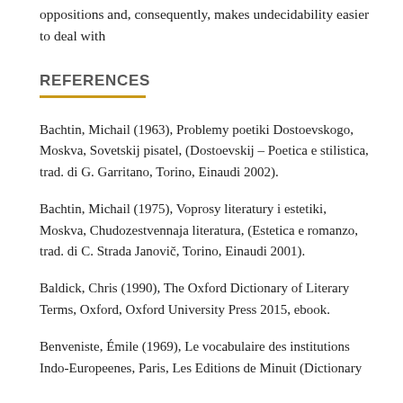oppositions and, consequently, makes undecidability easier to deal with
REFERENCES
Bachtin, Michail (1963), Problemy poetiki Dostoevskogo, Moskva, Sovetskij pisatel, (Dostoevskij – Poetica e stilistica, trad. di G. Garritano, Torino, Einaudi 2002).
Bachtin, Michail (1975), Voprosy literatury i estetiki, Moskva, Chudozestvennaja literatura, (Estetica e romanzo, trad. di C. Strada Janovič, Torino, Einaudi 2001).
Baldick, Chris (1990), The Oxford Dictionary of Literary Terms, Oxford, Oxford University Press 2015, ebook.
Benveniste, Émile (1969), Le vocabulaire des institutions Indo-Europeenes, Paris, Les Editions de Minuit (Dictionary